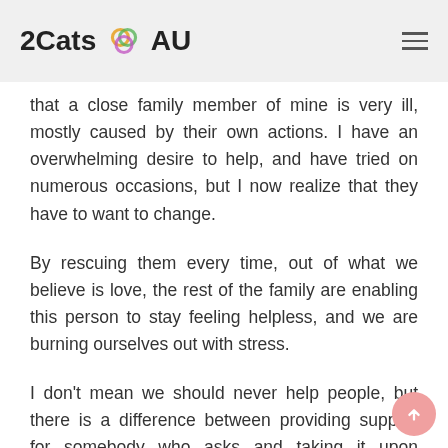2Cats AU
that a close family member of mine is very ill, mostly caused by their own actions. I have an overwhelming desire to help, and have tried on numerous occasions, but I now realize that they have to want to change.
By rescuing them every time, out of what we believe is love, the rest of the family are enabling this person to stay feeling helpless, and we are burning ourselves out with stress.
I don't mean we should never help people, but there is a difference between providing support for somebody who asks and taking it upon ourselves to save